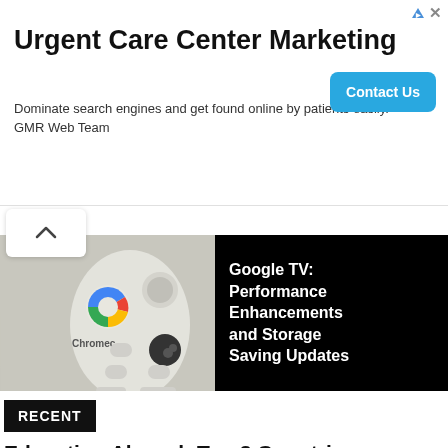[Figure (other): Advertisement banner for Urgent Care Center Marketing by GMR Web Team with Contact Us button]
[Figure (photo): Chromecast with Google TV remote control device photo on the left half, and black panel on the right with white bold text reading: Google TV: Performance Enhancements and Storage Saving Updates]
RECENT
Education Abroad: Top 3 Countries